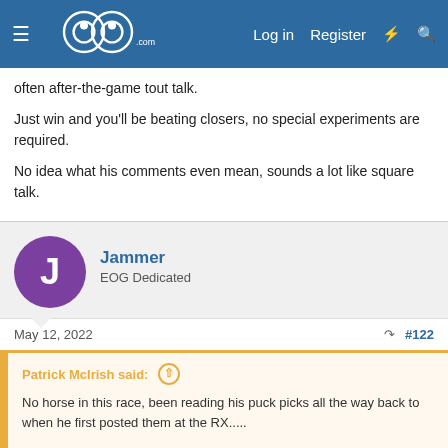EOG.com navigation bar with logo, Log in, Register
often after-the-game tout talk.
Just win and you'll be beating closers, no special experiments are required.
No idea what his comments even mean, sounds a lot like square talk.
Jammer
EOG Dedicated
May 12, 2022  #122
Patrick McIrish said: ↑

No horse in this race, been reading his puck picks all the way back to when he first posted them at the RX.....

That said he made a silly declaration here. He could beat closers by a lot if he wanted to?

You don't have to focus on beating the closer, focus on being a long-term winner, if so that comes with it.

Click to expand...